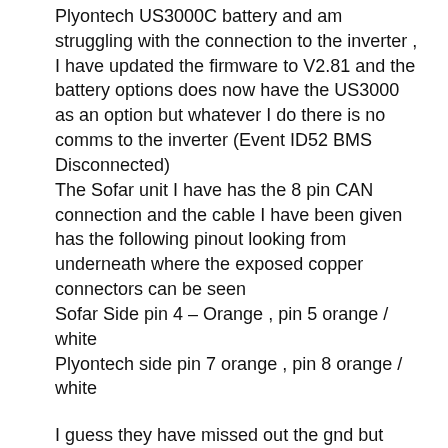Plyontech US3000C battery and am struggling with the connection to the inverter , I have updated the firmware to V2.81 and the battery options does now have the US3000 as an option but whatever I do there is no comms to the inverter (Event ID52 BMS Disconnected)
The Sofar unit I have has the 8 pin CAN connection and the cable I have been given has the following pinout looking from underneath where the exposed copper connectors can be seen
Sofar Side pin 4 – Orange , pin 5 orange / white
Plyontech side pin 7 orange , pin 8 orange / white
I guess they have missed out the gnd but should still get something if the others are correct ,does anyone have the correct pinout for this connection ?
I am using a single US3000C , All dipswitches are off and I am plugging into the A/CAN port on the battery and the CAN port on the Sofar , I have a feeling the cable is incorrect but cant